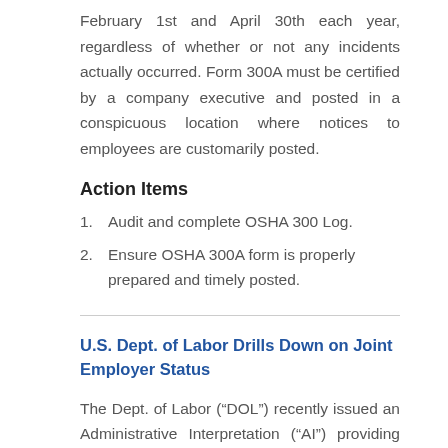February 1st and April 30th each year, regardless of whether or not any incidents actually occurred. Form 300A must be certified by a company executive and posted in a conspicuous location where notices to employees are customarily posted.
Action Items
1. Audit and complete OSHA 300 Log.
2. Ensure OSHA 300A form is properly prepared and timely posted.
U.S. Dept. of Labor Drills Down on Joint Employer Status
The Dept. of Labor (“DOL”) recently issued an Administrative Interpretation (“AI”) providing guidance on the issue of joint employment under the Fair Labor